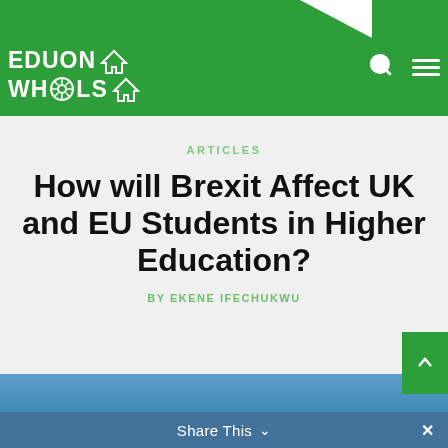ABOUT & CONTACT
[Figure (logo): Eduon Wheels logo with house icon and wheel icon on green background]
ARTICLES
How will Brexit Affect UK and EU Students in Higher Education?
BY EKENE IFECHUKWU
[Figure (photo): Partial photo visible at bottom of page with share bar overlay]